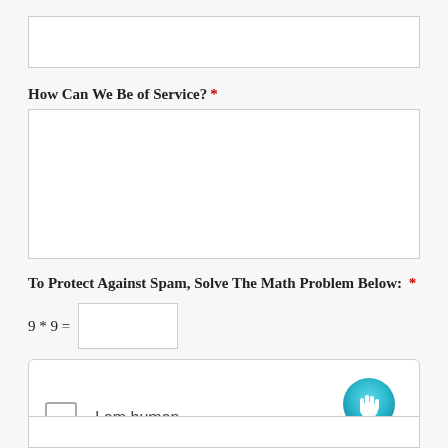[Figure (screenshot): Empty text input field at top of form]
How Can We Be of Service? *
[Figure (screenshot): Large textarea input box for service request]
To Protect Against Spam, Solve The Math Problem Below: *
[Figure (screenshot): hCaptcha widget with checkbox 'I am human', hCaptcha logo, Privacy and Terms links]
[Figure (screenshot): Partial submit button at bottom of page]